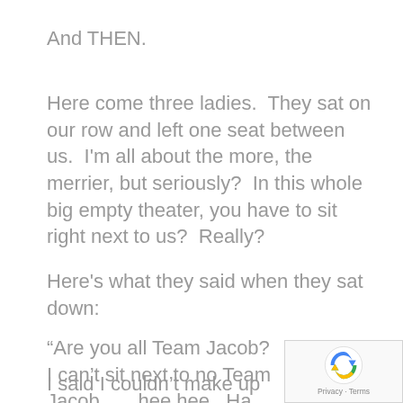And THEN.
Here come three ladies.  They sat on our row and left one seat between us.  I'm all about the more, the merrier, but seriously?  In this whole big empty theater, you have to sit right next to us?  Really?
Here's what they said when they sat down:
“Are you all Team Jacob?  I can’t sit next to no Team Jacob . . . hee hee.  Ha ha,”
I said I couldn’t make up my mind, we laughed, made some small talk, and wo